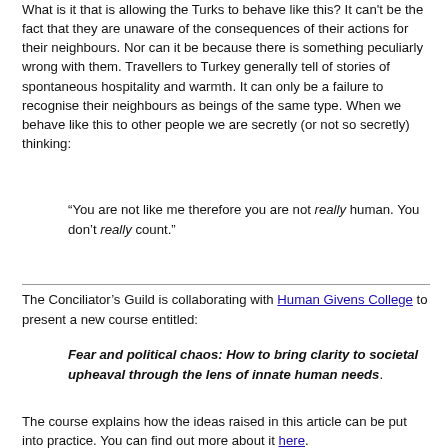What is it that is allowing the Turks to behave like this? It can't be the fact that they are unaware of the consequences of their actions for their neighbours. Nor can it be because there is something peculiarly wrong with them. Travellers to Turkey generally tell of stories of spontaneous hospitality and warmth. It can only be a failure to recognise their neighbours as beings of the same type. When we behave like this to other people we are secretly (or not so secretly) thinking:
“You are not like me therefore you are not really human. You don’t really count.”
The Conciliator’s Guild is collaborating with Human Givens College to present a new course entitled:
Fear and political chaos: How to bring clarity to societal upheaval through the lens of innate human needs.
The course explains how the ideas raised in this article can be put into practice. You can find out more about it here.